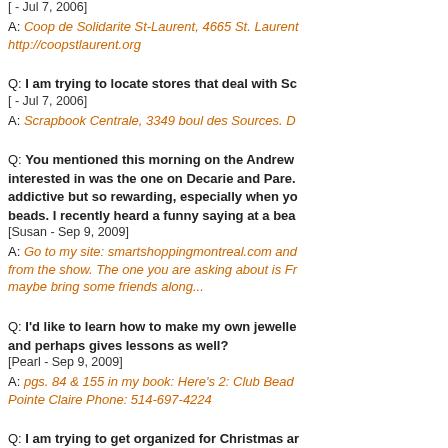[ - Jul 7, 2006]
A: Coop de Solidarite St-Laurent, 4665 St. Laurent... http://coopstlaurent.org
Q: I am trying to locate stores that deal with Sc...
[ - Jul 7, 2006]
A: Scrapbook Centrale, 3349 boul des Sources. D...
Q: You mentioned this morning on the Andrew... interested in was the one on Decarie and Pare. addictive but so rewarding, especially when yo... beads. I recently heard a funny saying at a bea...
[Susan - Sep 9, 2009]
A: Go to my site: smartshoppingmontreal.com and... from the show. The one you are asking about is Fr... maybe bring some friends along...
Q: I'd like to learn how to make my own jewelle... and perhaps gives lessons as well?
[Pearl - Sep 9, 2009]
A: pgs. 84 & 155 in my book: Here's 2: Club Bead... Pointe Claire Phone: 514-697-4224
Q: I am trying to get organized for Christmas ar... Perry Ellis cologne and related items.